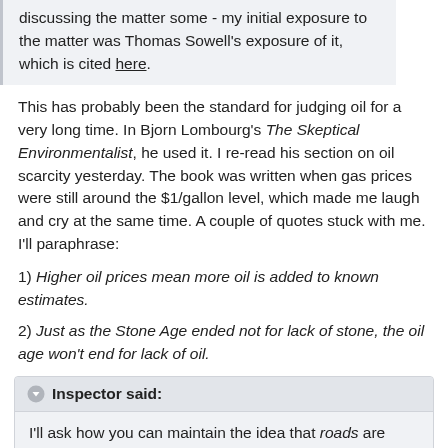discussing the matter some - my initial exposure to the matter was Thomas Sowell's exposure of it, which is cited here.
This has probably been the standard for judging oil for a very long time. In Bjorn Lombourg's The Skeptical Environmentalist, he used it. I re-read his section on oil scarcity yesterday. The book was written when gas prices were still around the $1/gallon level, which made me laugh and cry at the same time. A couple of quotes stuck with me. I'll paraphrase:
1) Higher oil prices mean more oil is added to known estimates.
2) Just as the Stone Age ended not for lack of stone, the oil age won't end for lack of oil.
Inspector said:
I'll ask how you can maintain the idea that roads are "subsidies" in light of the fact that the massive traffic jams out there show that the government is clearly not meeting the market's demand for roads. The government's control